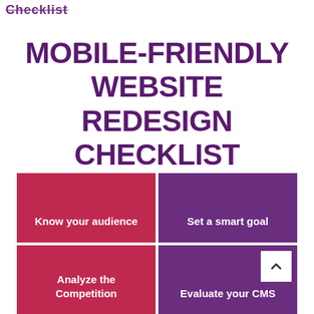Checklist
MOBILE-FRIENDLY WEBSITE REDESIGN CHECKLIST
Know your audience
Set a smart goal
Analyze the Competition
Evaluate your CMS